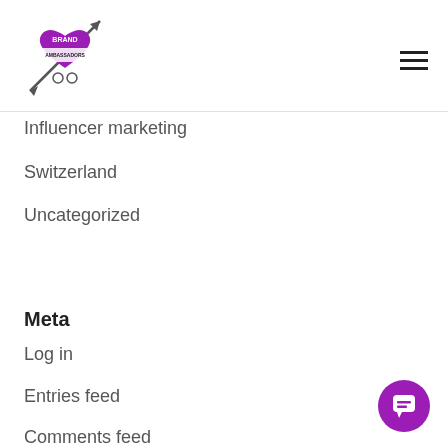[Figure (logo): Brand Ambassadors logo - purple heart with arrow and banner, purple and black design]
Influencer marketing
Switzerland
Uncategorized
Meta
Log in
Entries feed
Comments feed
WordPress.org
[Figure (illustration): Purple circular chat/messenger button with speech bubble icon]